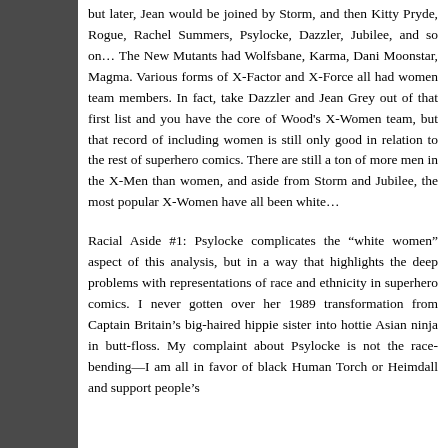but later, Jean would be joined by Storm, and then Kitty Pryde, Rogue, Rachel Summers, Psylocke, Dazzler, Jubilee, and so on… The New Mutants had Wolfsbane, Karma, Dani Moonstar, Magma. Various forms of X-Factor and X-Force all had women team members. In fact, take Dazzler and Jean Grey out of that first list and you have the core of Wood's X-Women team, but that record of including women is still only good in relation to the rest of superhero comics. There are still a ton of more men in the X-Men than women, and aside from Storm and Jubilee, the most popular X-Women have all been white…
Racial Aside #1: Psylocke complicates the "white women" aspect of this analysis, but in a way that highlights the deep problems with representations of race and ethnicity in superhero comics. I never gotten over her 1989 transformation from Captain Britain's big-haired hippie sister into hottie Asian ninja in butt-floss. My complaint about Psylocke is not the race-bending—I am all in favor of black Human Torch or Heimdall and support people's